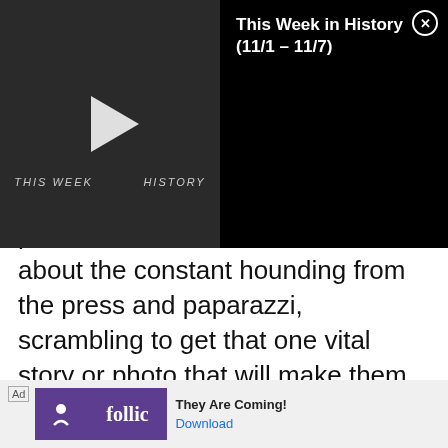[Figure (screenshot): Video thumbnail showing 'THIS WEEK IN HISTORY' with a play button on dark background, next to a black panel with title 'This Week in History (11/1 – 11/7)' and a close button]
performance or creation? And what about the constant hounding from the press and paparazzi, scrambling to get that one vital story or photo that will make them their fortune?
Because, famous people are definitely not immune to having a bad day. And unfortunately for them, their bad days are often displayed for us all to see thanks to the abundance of recording dev heys
[Figure (screenshot): Ad banner for 'follic' app with purple logo, headline 'They Are Coming!' and a Download button]